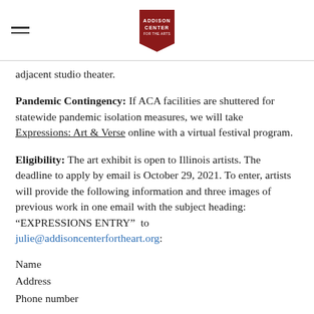Addison Center for the Arts (logo)
adjacent studio theater.
Pandemic Contingency: If ACA facilities are shuttered for statewide pandemic isolation measures, we will take Expressions: Art & Verse online with a virtual festival program.
Eligibility: The art exhibit is open to Illinois artists. The deadline to apply by email is October 29, 2021. To enter, artists will provide the following information and three images of previous work in one email with the subject heading: “EXPRESSIONS ENTRY”  to julie@addisoncenterfortheart.org:
Name
Address
Phone number